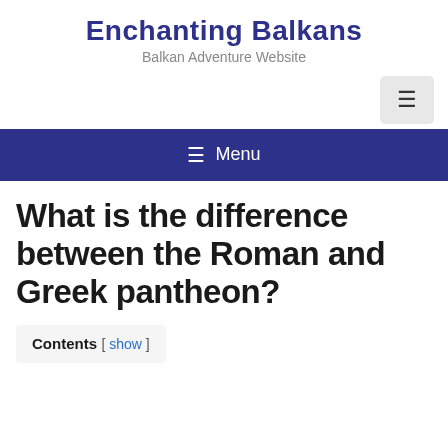Enchanting Balkans
Balkan Adventure Website
What is the difference between the Roman and Greek pantheon?
Contents [ show ]